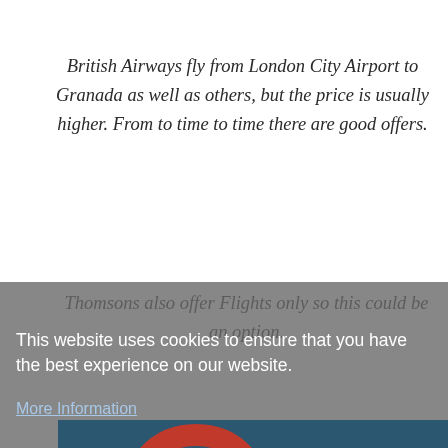British Airways fly from London City Airport to Granada as well as others, but the price is usually higher. From to time to time there are good offers.
Thomsons also offer Flights only so this could be an option.
This website uses cookies to ensure that you have the best experience on our website.
More Information
[Figure (logo): Thomson holiday brand logo showing TUI arc/swoosh symbol in red and the word 'Thomson' in red text on a dark blue background with a light blue HIDE bar]